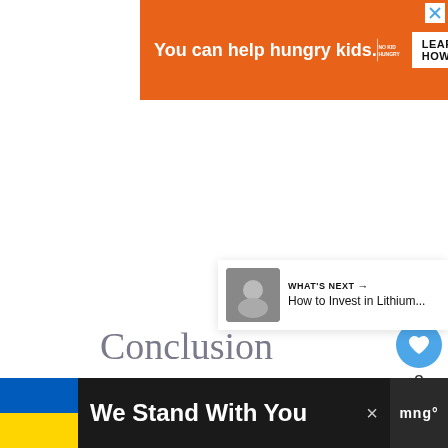[Figure (screenshot): Orange advertisement banner: 'You can help hungry kids.' with No Kid Hungry logo and 'LEARN HOW' button]
[Figure (screenshot): Social sidebar with heart/like button (blue circle), count of 3, and share button]
[Figure (screenshot): What's Next card with thumbnail image, arrow label 'WHAT'S NEXT', and title 'How to Invest in Lithium...']
Conclusion
[Figure (screenshot): Bottom dark banner with Ukraine flag, text 'We Stand With You', close button, and Mango logo]